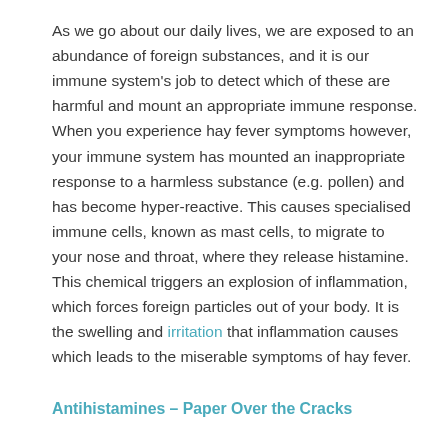As we go about our daily lives, we are exposed to an abundance of foreign substances, and it is our immune system's job to detect which of these are harmful and mount an appropriate immune response. When you experience hay fever symptoms however, your immune system has mounted an inappropriate response to a harmless substance (e.g. pollen) and has become hyper-reactive. This causes specialised immune cells, known as mast cells, to migrate to your nose and throat, where they release histamine. This chemical triggers an explosion of inflammation, which forces foreign particles out of your body. It is the swelling and irritation that inflammation causes which leads to the miserable symptoms of hay fever.
Antihistamines – Paper Over the Cracks